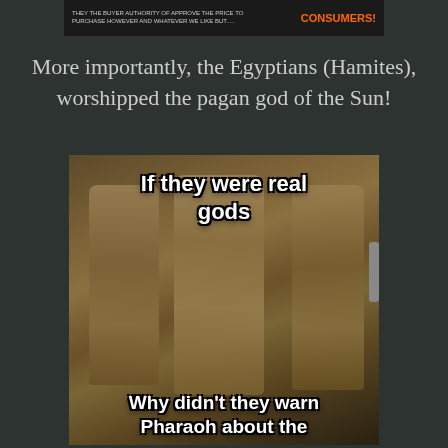[Figure (screenshot): Banner advertisement with small gray text on left and orange bold text 'CONSUMERS!' on right, on dark background]
More importantly, the Egyptians (Hamites), worshipped the pagan god of the Sun!
[Figure (photo): Photo of ancient Egyptian stone relief showing three standing figures with text overlay: 'If they were real gods' at top and 'Why didn't they warn Pharaoh about the' at bottom]